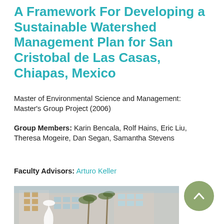A Framework For Developing a Sustainable Watershed Management Plan for San Cristobal de Las Casas, Chiapas, Mexico
Master of Environmental Science and Management: Master's Group Project (2006)
Group Members: Karin Bencala, Rolf Hains, Eric Liu, Theresa Mogeire, Dan Segan, Samantha Stevens
Faculty Advisors: Arturo Keller
[Figure (photo): Photo of a university building with palm trees and a white sculpture in the foreground. A sage-green circular scroll-to-top button is visible to the right.]